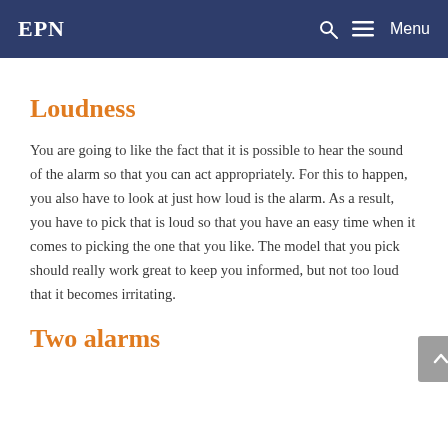EPN   Menu
Loudness
You are going to like the fact that it is possible to hear the sound of the alarm so that you can act appropriately. For this to happen, you also have to look at just how loud is the alarm. As a result, you have to pick that is loud so that you have an easy time when it comes to picking the one that you like. The model that you pick should really work great to keep you informed, but not too loud that it becomes irritating.
Two alarms